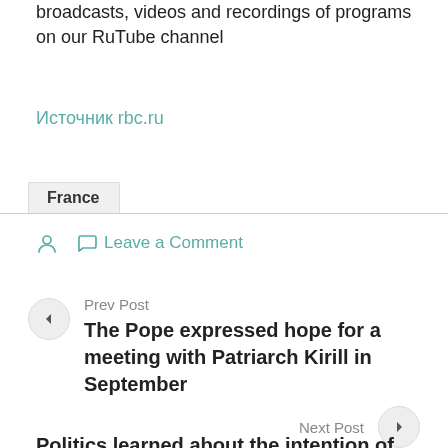broadcasts, videos and recordings of programs on our RuTube channel
Источник rbc.ru
France
Leave a Comment
Prev Post
The Pope expressed hope for a meeting with Patriarch Kirill in September
Next Post
Politics learned about the intention of